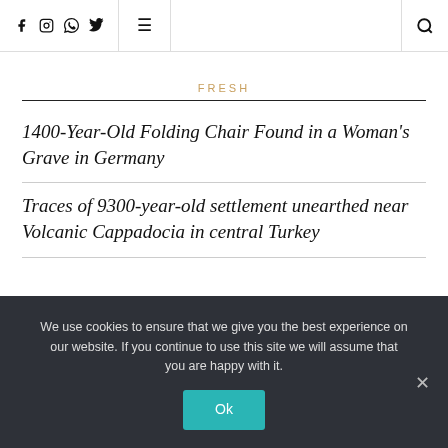Social icons: Facebook, Instagram, WhatsApp, Twitter | Menu | Search
FRESH
1400-Year-Old Folding Chair Found in a Woman's Grave in Germany
Traces of 9300-year-old settlement unearthed near Volcanic Cappadocia in central Turkey
We use cookies to ensure that we give you the best experience on our website. If you continue to use this site we will assume that you are happy with it.